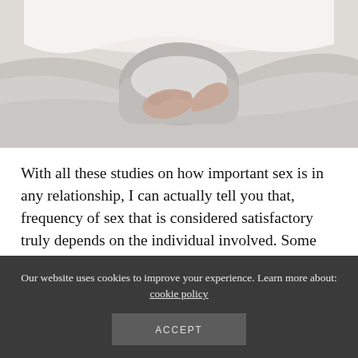[Figure (photo): Photo of a person lying in white bed linens, with a hand resting on the bedsheet, viewed from above]
With all these studies on how important sex is in any relationship, I can actually tell you that, frequency of sex that is considered satisfactory truly depends on the individual involved. Some people aren't interested in sex and they don't particularly need it to have a good relationship. What's important is that you and your partner can talk about what each want from your sex lives, acknowledge any discrepancies, and find way to
Our website uses cookies to improve your experience. Learn more about: cookie policy
ACCEPT